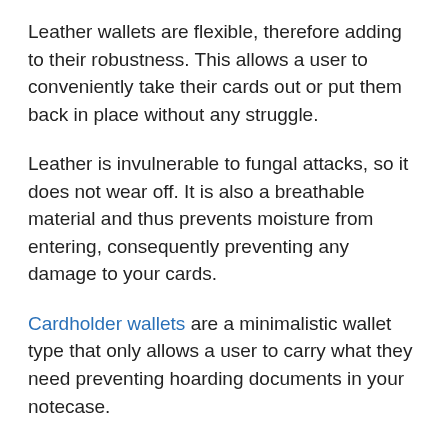Leather wallets are flexible, therefore adding to their robustness. This allows a user to conveniently take their cards out or put them back in place without any struggle.
Leather is invulnerable to fungal attacks, so it does not wear off. It is also a breathable material and thus prevents moisture from entering, consequently preventing any damage to your cards.
Cardholder wallets are a minimalistic wallet type that only allows a user to carry what they need preventing hoarding documents in your notecase.
Some people use cardholders in addition to a regular wallet while others use it solo. Cardholder wallets press users to lose unnecessary weight.
Concluding thoughts